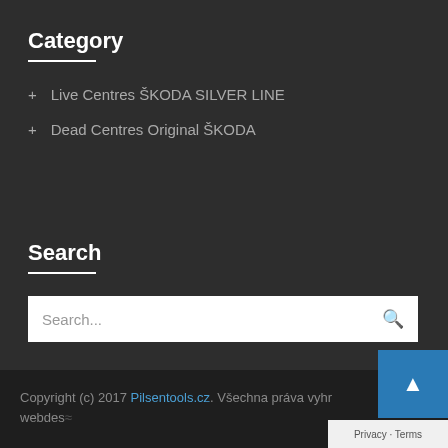Category
+ Live Centres ŠKODA SILVER LINE
+ Dead Centres Original ŠKODA
Search
Search...
Copyright (c) 2017 Pilsentools.cz. Všechna práva vyhr... webdes...